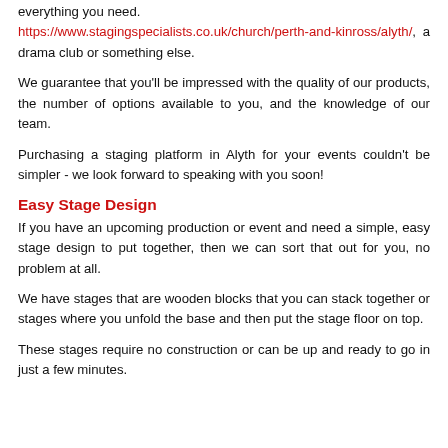everything you need. https://www.stagingspecialists.co.uk/church/perth-and-kinross/alyth/, a drama club or something else.
We guarantee that you'll be impressed with the quality of our products, the number of options available to you, and the knowledge of our team.
Purchasing a staging platform in Alyth for your events couldn't be simpler - we look forward to speaking with you soon!
Easy Stage Design
If you have an upcoming production or event and need a simple, easy stage design to put together, then we can sort that out for you, no problem at all.
We have stages that are wooden blocks that you can stack together or stages where you unfold the base and then put the stage floor on top.
These stages require no construction or can be up and ready to go in just a few minutes.